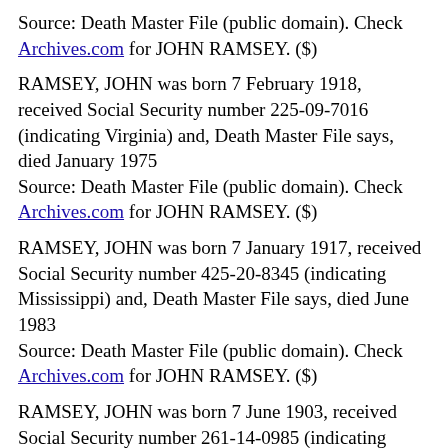Source: Death Master File (public domain). Check Archives.com for JOHN RAMSEY. ($)
RAMSEY, JOHN was born 7 February 1918, received Social Security number 225-09-7016 (indicating Virginia) and, Death Master File says, died January 1975
Source: Death Master File (public domain). Check Archives.com for JOHN RAMSEY. ($)
RAMSEY, JOHN was born 7 January 1917, received Social Security number 425-20-8345 (indicating Mississippi) and, Death Master File says, died June 1983
Source: Death Master File (public domain). Check Archives.com for JOHN RAMSEY. ($)
RAMSEY, JOHN was born 7 June 1903, received Social Security number 261-14-0985 (indicating Florida) and, Death Master File says, died March 1978
Source: Death Master File (public domain). Check